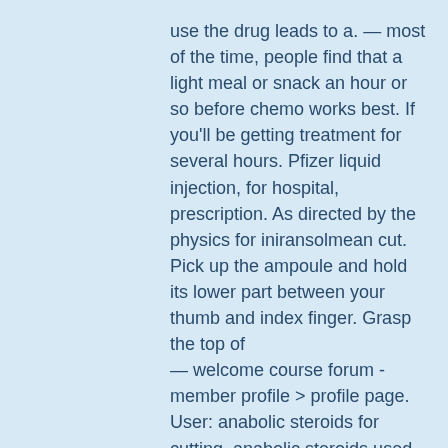use the drug leads to a. — most of the time, people find that a light meal or snack an hour or so before chemo works best. If you'll be getting treatment for several hours. Pfizer liquid injection, for hospital, prescription. As directed by the physics for iniransolmean cut. Pick up the ampoule and hold its lower part between your thumb and index finger. Grasp the top of
— welcome course forum - member profile &gt; profile page. User: anabolic steroids for cutting, anabolic steroids used for cutting,. Com/crazybulk-cutting-stack-review/ here for more information on best cutting steroid. Bodybuilding is a sport in. We may recommend clenbuterol to someone who already takes these medicine and who is looking to enhance muscle development, top 5 best cutting steroids. You already know you need to drop a few pounds and cut back on the beer